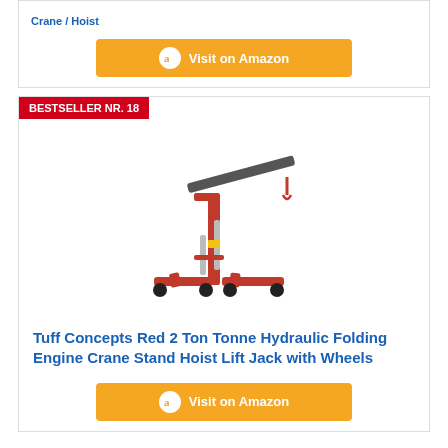Crane / Hoist
Visit on Amazon
BESTSELLER NR. 18
[Figure (photo): Red 2 Ton Tonne Hydraulic Folding Engine Crane Stand Hoist Lift Jack with Wheels on white background]
Tuff Concepts Red 2 Ton Tonne Hydraulic Folding Engine Crane Stand Hoist Lift Jack with Wheels
Visit on Amazon